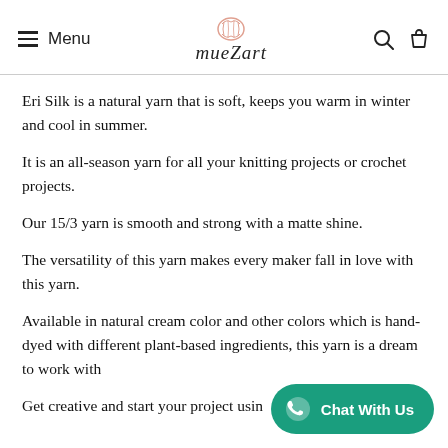Menu | mueZart | [search] [cart]
Eri Silk is a natural yarn that is soft, keeps you warm in winter and cool in summer.
It is an all-season yarn for all your knitting projects or crochet projects.
Our 15/3 yarn is smooth and strong with a matte shine.
The versatility of this yarn makes every maker fall in love with this yarn.
Available in natural cream color and other colors which is hand-dyed with different plant-based ingredients, this yarn is a dream to work with
Get creative and start your project using our yarns.